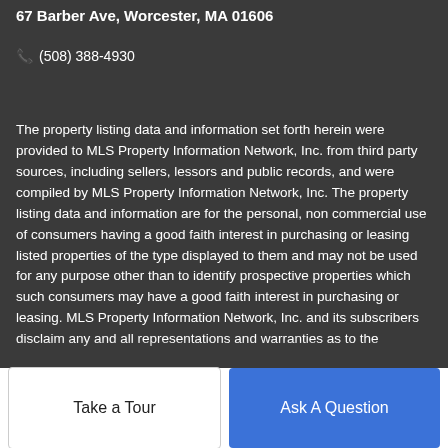67 Barber Ave, Worcester, MA 01606
📞 (508) 388-4930
The property listing data and information set forth herein were provided to MLS Property Information Network, Inc. from third party sources, including sellers, lessors and public records, and were compiled by MLS Property Information Network, Inc. The property listing data and information are for the personal, non commercial use of consumers having a good faith interest in purchasing or leasing listed properties of the type displayed to them and may not be used for any purpose other than to identify prospective properties which such consumers may have a good faith interest in purchasing or leasing. MLS Property Information Network, Inc. and its subscribers disclaim any and all representations and warranties as to the accuracy of the property listing data and information set forth herein.
Take a Tour
Ask A Question